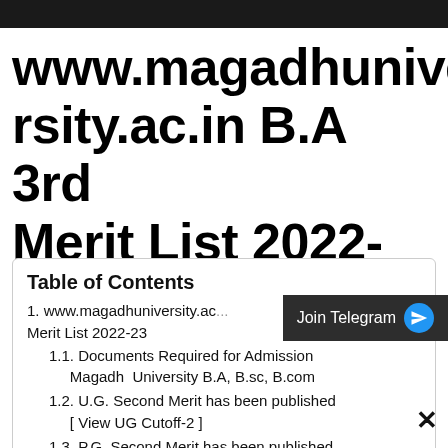[Figure (screenshot): Dark top navigation bar of a website]
www.magadhuniversity.ac.in B.A 3rd Merit List 2022-23
Table of Contents
1. www.magadhuniversity.ac... Merit List 2022-23
1.1. Documents Required for Admission Magadh  University B.A, B.sc, B.com
1.2. U.G. Second Merit has been published [ View UG Cutoff-2 ]
1.3. P.G. Second Merit has been published. [ View PG Cutoff ]